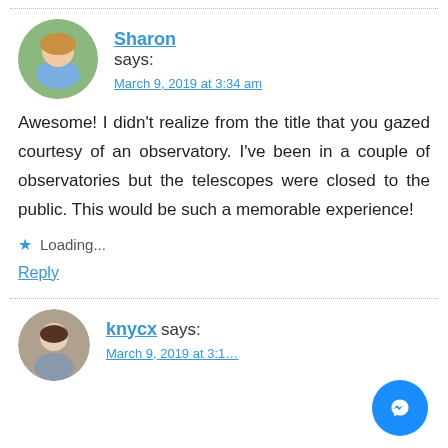[Figure (photo): Sharon's avatar photo — smiling woman with blonde hair wearing blue top]
Sharon says:
March 9, 2019 at 3:34 am
Awesome! I didn't realize from the title that you gazed courtesy of an observatory. I've been in a couple of observatories but the telescopes were closed to the public. This would be such a memorable experience!
★ Loading...
Reply
[Figure (photo): knycx's avatar photo — person with dark hair]
knycx says: